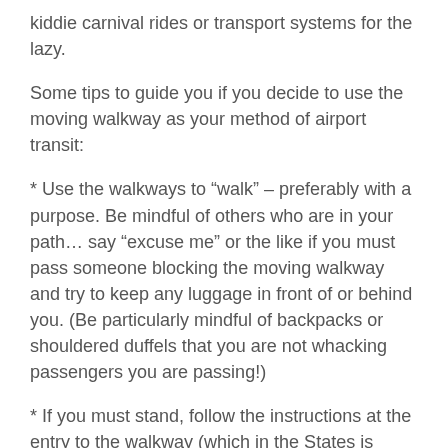kiddie carnival rides or transport systems for the lazy.
Some tips to guide you if you decide to use the moving walkway as your method of airport transit:
* Use the walkways to “walk” – preferably with a purpose. Be mindful of others who are in your path… say “excuse me” or the like if you must pass someone blocking the moving walkway and try to keep any luggage in front of or behind you. (Be particularly mindful of backpacks or shouldered duffels that you are not whacking passengers you are passing!)
* If you must stand, follow the instructions at the entry to the walkway (which in the States is typically on the right) and allow others to pass you by keeping your belongings on the same side. If you are traveling with others, do not stand side-by-side blocking the walkway path for others.